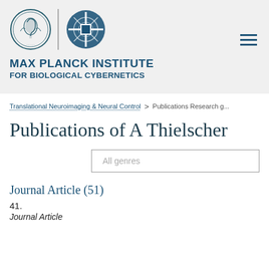[Figure (logo): Max Planck Institute logo with two emblems: classical profile medallion and abstract architectural symbol, separated by a vertical line]
MAX PLANCK INSTITUTE FOR BIOLOGICAL CYBERNETICS
Translational Neuroimaging & Neural Control > Publications Research g...
Publications of A Thielscher
All genres
Journal Article (51)
41.
Journal Article